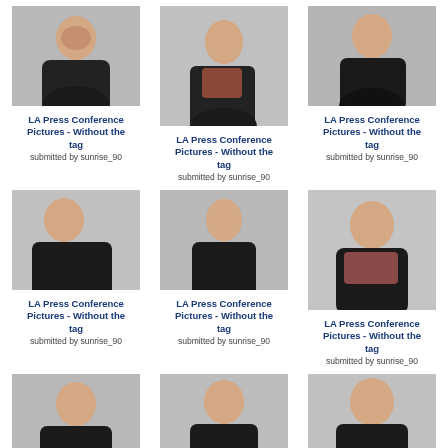[Figure (photo): Photo of young man laughing, wearing black jacket]
LA Press Conference Pictures - Without the tag
submitted by sunrise_90
[Figure (photo): Photo of young man in black jacket and plaid shirt, smiling]
LA Press Conference Pictures - Without the tag
submitted by sunrise_90
[Figure (photo): Photo of young man resting head on hand, smiling]
LA Press Conference Pictures - Without the tag
submitted by sunrise_90
[Figure (photo): Photo of young man in profile, black jacket]
LA Press Conference Pictures - Without the tag
submitted by sunrise_90
[Figure (photo): Photo of young man in profile, black jacket, looking right]
LA Press Conference Pictures - Without the tag
submitted by sunrise_90
[Figure (photo): Photo of young man smiling, wearing patterned shirt]
LA Press Conference Pictures - Without the tag
submitted by sunrise_90
[Figure (photo): Photo of young man with chin on hand, black jacket]
[Figure (photo): Photo of young man looking down, black jacket]
[Figure (photo): Photo of young man laughing, cropped]